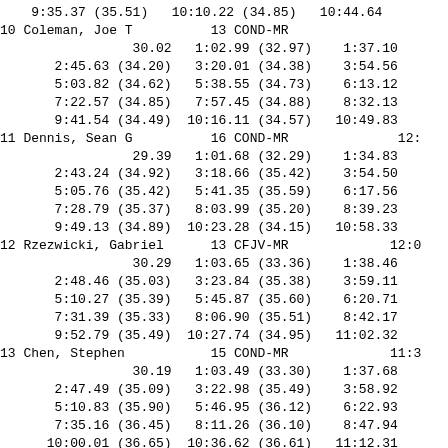| 9:35.37 (35.51) | 10:10.22 (34.85) | 10:44.64 |
| 10 Coleman, Joe T | 13 COND-MR |  |
| 30.02 | 1:02.99 (32.97) | 1:37.10 |
| 2:45.63 (34.20) | 3:20.01 (34.38) | 3:54.56 |
| 5:03.82 (34.62) | 5:38.55 (34.73) | 6:13.12 |
| 7:22.57 (34.85) | 7:57.45 (34.88) | 8:32.13 |
| 9:41.54 (34.49) | 10:16.11 (34.57) | 10:49.83 |
| 11 Dennis, Sean G | 16 COND-MR | 12: |
| 29.39 | 1:01.68 (32.29) | 1:34.83 |
| 2:43.24 (34.92) | 3:18.66 (35.42) | 3:54.50 |
| 5:05.76 (35.42) | 5:41.35 (35.59) | 6:17.56 |
| 7:28.79 (35.37) | 8:03.99 (35.20) | 8:39.23 |
| 9:49.13 (34.89) | 10:23.28 (34.15) | 10:58.33 |
| 12 Rzezwicki, Gabriel | 13 CFJV-MR | 12:0 |
| 30.29 | 1:03.65 (33.36) | 1:38.46 |
| 2:48.46 (35.03) | 3:23.84 (35.38) | 3:59.11 |
| 5:10.27 (35.39) | 5:45.87 (35.60) | 6:20.71 |
| 7:31.39 (35.33) | 8:06.90 (35.51) | 8:42.17 |
| 9:52.79 (35.49) | 10:27.74 (34.95) | 11:02.32 |
| 13 Chen, Stephen | 15 COND-MR | 11:3 |
| 30.19 | 1:03.49 (33.30) | 1:37.68 |
| 2:47.49 (35.09) | 3:22.98 (35.49) | 3:58.92 |
| 5:10.83 (35.90) | 5:46.95 (36.12) | 6:22.93 |
| 7:35.16 (36.45) | 8:11.26 (36.10) | 8:47.94 |
| 10:00.01 (36.65) | 10:36.62 (36.61) | 11:12.31 |
| 14 Landgraf, Timothy A | 13 FREE-MR | 12: |
| 31.85 | 1:07.64 (35.79) | 1:43.72 |
| 2:57.57 (36.98) | 3:34.26 (36.69) | 4:11.27 |
| 5:26.21 (37.68) | 6:02.70 (36.49) | 6:39.74 |
| 7:53.17 (37.11) | 8:29.55 (36.38) | 9:05.81 |